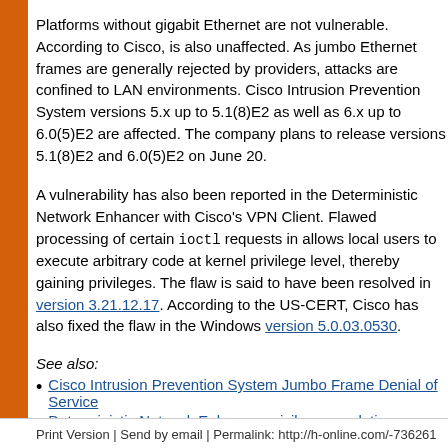Platforms without gigabit Ethernet are not vulnerable. According to Cisco, is also unaffected. As jumbo Ethernet frames are generally rejected by providers, attacks are confined to LAN environments. Cisco Intrusion Prevention System versions 5.x up to 5.1(8)E2 as well as 6.x up to 6.0(5)E2 are affected. The company plans to release versions 5.1(8)E2 and 6.0(5)E2 on June 20.
A vulnerability has also been reported in the Deterministic Network Enhancer with Cisco's VPN Client. Flawed processing of certain ioctl requests in allows local users to execute arbitrary code at kernel privilege level, thereby gaining privileges. The flaw is said to have been resolved in version 3.21.12.17. According to the US-CERT, Cisco has also fixed the flaw in the Windows version 5.0.03.0530.
See also:
Cisco Intrusion Prevention System Jumbo Frame Denial of Service
Deterministic Network Enhancer privilege escalation vulnerability, US-CERT
(mba)
Print Version | Send by email | Permalink: http://h-online.com/-736261